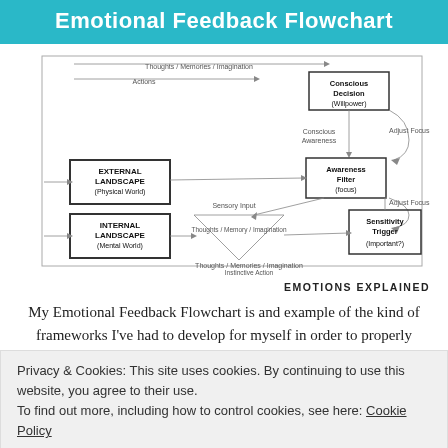Emotional Feedback Flowchart
[Figure (flowchart): Emotional Feedback Flowchart diagram showing interconnected boxes: Conscious Decision (Willpower), Awareness Filter (focus), External Landscape (Physical World), Internal Landscape (Mental World), Sensitivity Trigger (Important?), with labeled arrows for Thoughts/Memories/Imagination, Actions, Conscious Awareness, Adjust Focus, Sensory Input, Instinctive Action, Emotional Reaction]
EMOTIONS EXPLAINED
My Emotional Feedback Flowchart is and example of the kind of frameworks I've had to develop for myself in order to properly
Privacy & Cookies: This site uses cookies. By continuing to use this website, you agree to their use.
To find out more, including how to control cookies, see here: Cookie Policy
Close and accept
why it worked. I was able to dedicate my